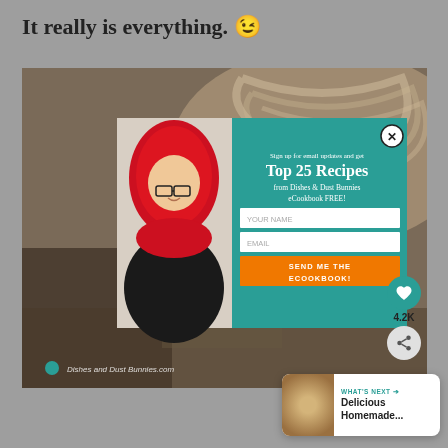It really is everything. 😉
[Figure (screenshot): Screenshot of a food blog page showing a popup modal overlay on a blurred food background. The popup has a woman with red hair on the left and a teal panel on the right with text: 'Sign up for email updates and get Top 25 Recipes from Dishes & Dust Bunnies eCookbook FREE!' with fields for YOUR NAME and EMAIL and an orange SEND ME THE ECOOKBOOK! button. Social share buttons with 4.2K count and a 'What's Next' panel for Delicious Homemade... are visible.]